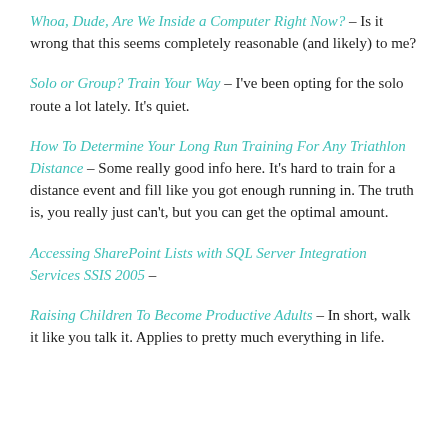Whoa, Dude, Are We Inside a Computer Right Now? – Is it wrong that this seems completely reasonable (and likely) to me?
Solo or Group? Train Your Way – I've been opting for the solo route a lot lately. It's quiet.
How To Determine Your Long Run Training For Any Triathlon Distance – Some really good info here. It's hard to train for a distance event and fill like you got enough running in. The truth is, you really just can't, but you can get the optimal amount.
Accessing SharePoint Lists with SQL Server Integration Services SSIS 2005 –
Raising Children To Become Productive Adults – In short, walk it like you talk it. Applies to pretty much everything in life.